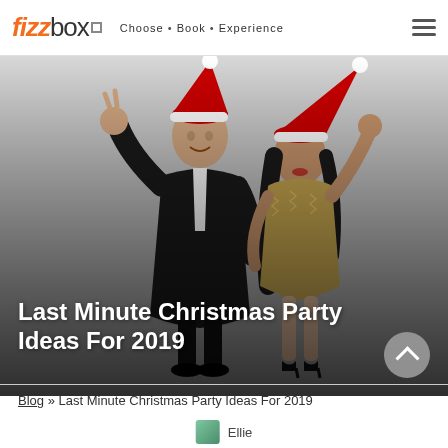fizzbox. Choose • Book • Experience
[Figure (photo): A man in a black tuxedo with bow tie making a peace sign and a woman in a gold sequin dress, both wearing red Santa hats, posed in a festive dancing stance against a light grey background.]
Last Minute Christmas Party Ideas For 2019
Blog » Last Minute Christmas Party Ideas For 2019
Ellie